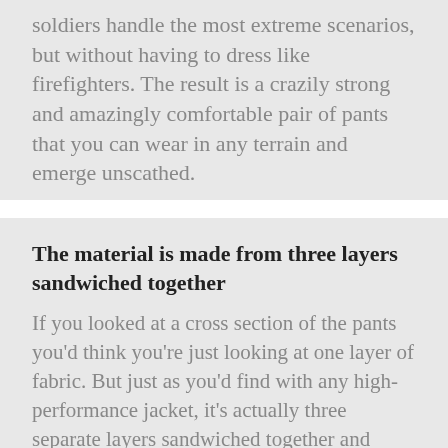soldiers handle the most extreme scenarios, but without having to dress like firefighters. The result is a crazily strong and amazingly comfortable pair of pants that you can wear in any terrain and emerge unscathed.
The material is made from three layers sandwiched together
If you looked at a cross section of the pants you'd think you're just looking at one layer of fabric. But just as you'd find with any high-performance jacket, it's actually three separate layers sandwiched together and performing three distinct roles. The outer layer is a stretchy windproof soft shell. The middle layer